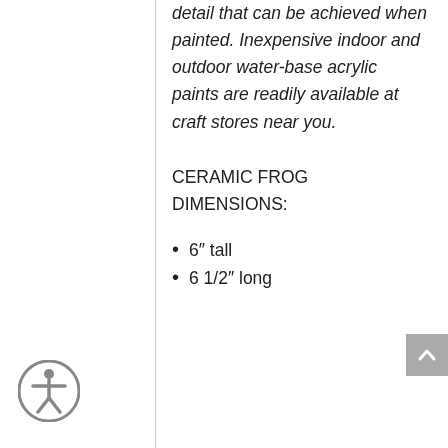representation of the detail that can be achieved when painted. Inexpensive indoor and outdoor water-base acrylic paints are readily available at craft stores near you.
CERAMIC FROG DIMENSIONS:
6″ tall
6 1/2″ long